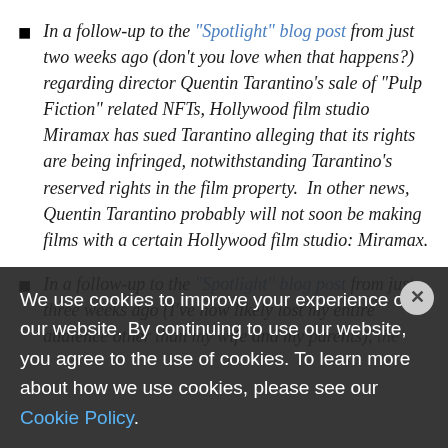In a follow-up to the "Spotlight" blog post from just two weeks ago (don't you love when that happens?) regarding director Quentin Tarantino's sale of "Pulp Fiction" related NFTs, Hollywood film studio Miramax has sued Tarantino alleging that its rights are being infringed, notwithstanding Tarantino's reserved rights in the film property.  In other news, Quentin Tarantino probably will not soon be making films with a certain Hollywood film studio: Miramax.
In a follow-up to the "Spotlight" blog post from just three weeks ago (I've now likely lost my entire audience other than my wife and my parents), the ... have sued ... Cleveland Guardians Major League Baseball team. Financial details of the settlement are undisclosed, but both organizations will continue using the Cleveland Guardians name ... World Series championships. I'd say "there goes the Cleveland audience," but neither
We use cookies to improve your experience on our website. By continuing to use our website, you agree to the use of cookies. To learn more about how we use cookies, please see our Cookie Policy.